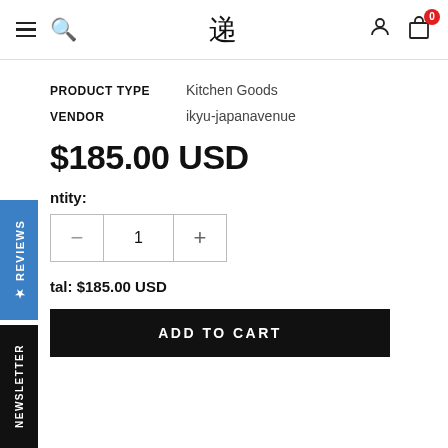[Figure (screenshot): E-commerce product page header with hamburger menu, search icon, Japanese kanji logo, user icon, and cart icon with badge showing 0]
PRODUCT TYPE   Kitchen Goods
VENDOR   ikyu-japanavenue
$185.00 USD
Quantity:
1
Subtotal: $185.00 USD
ADD TO CART
★ REVIEWS
NEWSLETTER